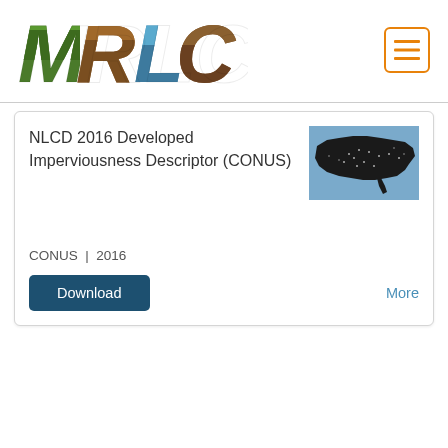[Figure (logo): MRLC logo with letters filled with nature/landscape photos - M with forest, R with brown earth, L with water/sky, C with soil texture]
[Figure (other): Hamburger menu button with orange border and three orange horizontal lines]
NLCD 2016 Developed Imperviousness Descriptor (CONUS)
[Figure (map): Thumbnail map of the contiguous United States (CONUS) showing black dots/developed areas on a blue background]
CONUS | 2016
Download
More